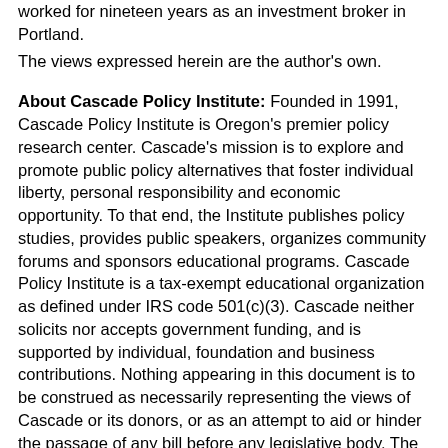worked for nineteen years as an investment broker in Portland.
The views expressed herein are the author's own.
About Cascade Policy Institute: Founded in 1991, Cascade Policy Institute is Oregon's premier policy research center. Cascade's mission is to explore and promote public policy alternatives that foster individual liberty, personal responsibility and economic opportunity. To that end, the Institute publishes policy studies, provides public speakers, organizes community forums and sponsors educational programs. Cascade Policy Institute is a tax-exempt educational organization as defined under IRS code 501(c)(3). Cascade neither solicits nor accepts government funding, and is supported by individual, foundation and business contributions. Nothing appearing in this document is to be construed as necessarily representing the views of Cascade or its donors, or as an attempt to aid or hinder the passage of any bill before any legislative body. The views expressed herein are the author's own. Copyright 2005 by